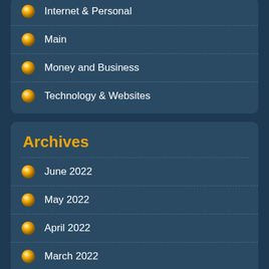Internet & Personal
Main
Money and Business
Technology & Websites
Archives
June 2022
May 2022
April 2022
March 2022
February 2022
December 2021
November 2021
October 2021